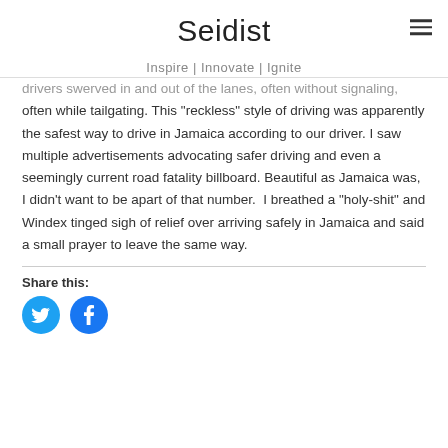Seidist
Inspire | Innovate | Ignite
drivers swerved in and out of the lanes, often without signaling, often while tailgating. This "reckless" style of driving was apparently the safest way to drive in Jamaica according to our driver. I saw multiple advertisements advocating safer driving and even a seemingly current road fatality billboard. Beautiful as Jamaica was, I didn't want to be apart of that number.  I breathed a "holy-shit" and Windex tinged sigh of relief over arriving safely in Jamaica and said a small prayer to leave the same way.
Share this:
[Figure (illustration): Twitter and Facebook share buttons as circular blue icons]